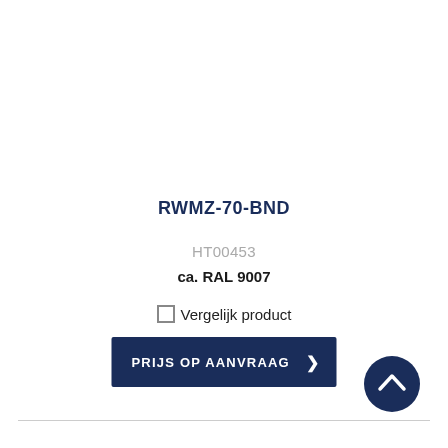RWMZ-70-BND
HT00453
ca. RAL 9007
Vergelijk product
PRIJS OP AANVRAAG
[Figure (illustration): Scroll-to-top button: dark navy circle with white upward chevron arrow]